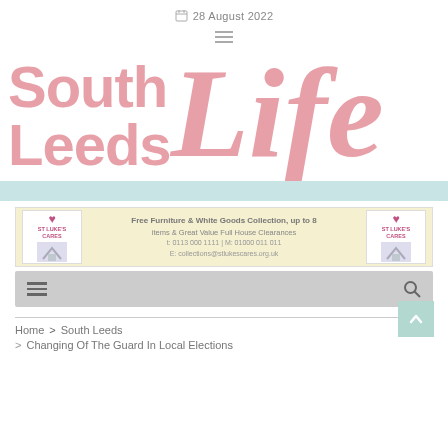28 August 2022
[Figure (logo): South Leeds Life logo in pink/rose colors with large italic 'Life' text]
[Figure (infographic): Advertisement banner: Free Furniture & White Goods Collection, up to 8 items & Great Value Full House Clearances, with St Luke's Cares logos on each side]
[Figure (screenshot): Navigation bar with hamburger menu icon on left and search icon on right, gray background]
Home > South Leeds > Changing Of The Guard In Local Elections